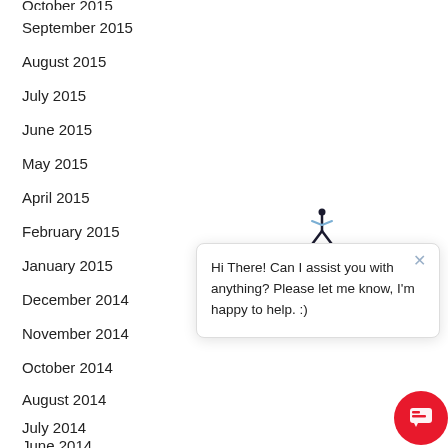October 2015
September 2015
August 2015
July 2015
June 2015
May 2015
April 2015
February 2015
January 2015
December 2014
November 2014
October 2014
August 2014
July 2014
June 2014
[Figure (screenshot): Chat popup widget with bot icon showing message: Hi There! Can I assist you with anything? Please let me know, I'm happy to help. :) and a red circular chat button in the bottom right corner.]